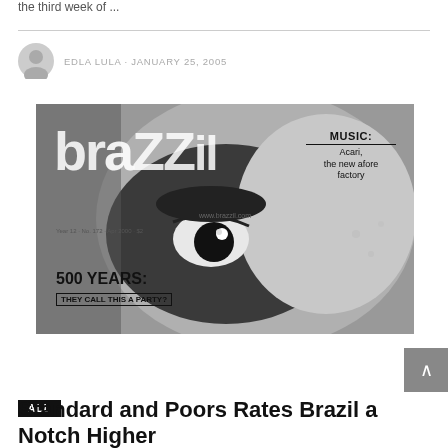the third week of ...
EDLA LULA · JANUARY 25, 2005
[Figure (photo): Black and white magazine cover of 'Brazzil' featuring a close-up of a person's face with text: MUSIC: Acari, the new afore factory; 500 YEARS: THEY CALL THIS A PARTY?; www.brazzil.com; Year 12 · No. 172 · Apr 2000 · $2]
ALL
Standard and Poors Rates Brazil a Notch Higher